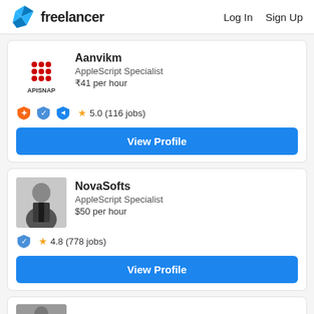freelancer  Log In  Sign Up
Aanvikm
AppleScript Specialist
₹41 per hour
★ 5.0 (116 jobs)
View Profile
NovaSofts
AppleScript Specialist
$50 per hour
★ 4.8 (778 jobs)
View Profile